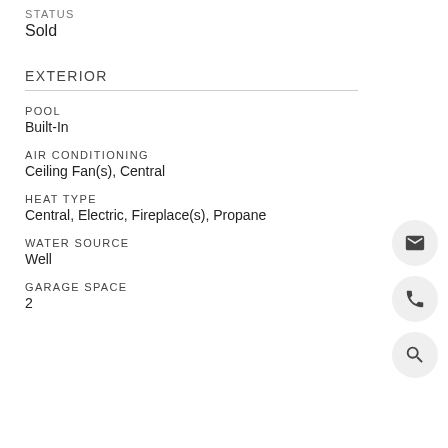STATUS
Sold
EXTERIOR
POOL
Built-In
AIR CONDITIONING
Ceiling Fan(s), Central
HEAT TYPE
Central, Electric, Fireplace(s), Propane
WATER SOURCE
Well
GARAGE SPACE
2